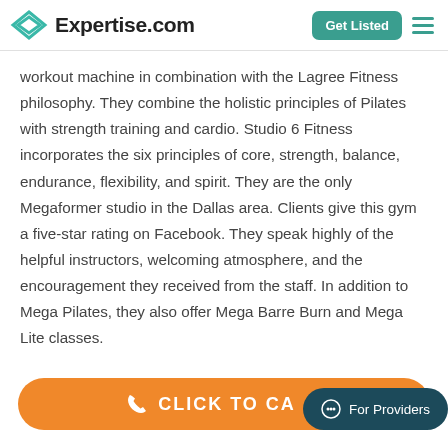Expertise.com | Get Listed
workout machine in combination with the Lagree Fitness philosophy. They combine the holistic principles of Pilates with strength training and cardio. Studio 6 Fitness incorporates the six principles of core, strength, balance, endurance, flexibility, and spirit. They are the only Megaformer studio in the Dallas area. Clients give this gym a five-star rating on Facebook. They speak highly of the helpful instructors, welcoming atmosphere, and the encouragement they received from the staff. In addition to Mega Pilates, they also offer Mega Barre Burn and Mega Lite classes.
[Figure (other): Orange CLICK TO CALL button and dark teal For Providers chat bubble at bottom of page]